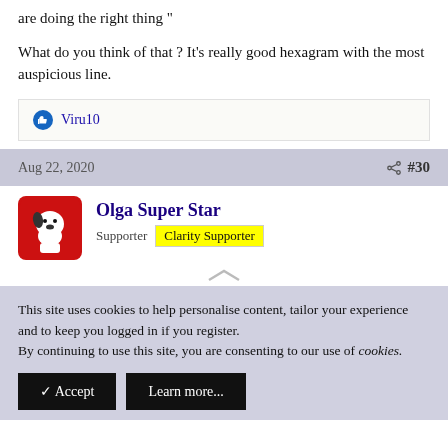are doing the right thing "
What do you think of that ? It's really good hexagram with the most auspicious line.
Viru10
Aug 22, 2020   #30
Olga Super Star
Supporter   Clarity Supporter
This site uses cookies to help personalise content, tailor your experience and to keep you logged in if you register.
By continuing to use this site, you are consenting to our use of cookies.
✓ Accept   Learn more...